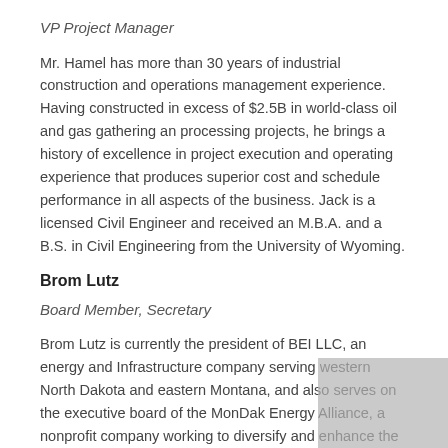VP Project Manager
Mr. Hamel has more than 30 years of industrial construction and operations management experience.  Having constructed in excess of $2.5B in world-class oil and gas gathering an processing projects, he brings a history of excellence in project execution and operating experience that produces superior cost and schedule performance in all aspects of the business.  Jack is a licensed Civil Engineer and received an M.B.A. and a B.S. in Civil Engineering from the University of Wyoming.
Brom Lutz
Board Member, Secretary
Brom Lutz is currently the president of BEI LLC, an energy and Infrastructure company serving western North Dakota and eastern Montana, and also serves on the executive board of the MonDak Energy Alliance, a nonprofit company working to diversify and enhance the oil, gas and renewable energy industry in the Williston Basin. He has extensive experience in sales and marketing and has been directly involved in the development of the project since its inception.  Lutz serves as Secretary of the